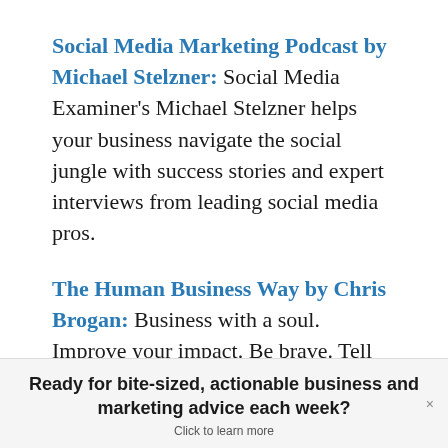Social Media Marketing Podcast by Michael Stelzner: Social Media Examiner's Michael Stelzner helps your business navigate the social jungle with success stories and expert interviews from leading social media pros.
The Human Business Way by Chris Brogan: Business with a soul. Improve your impact. Be brave. Tell bigger stories. Discussions and more with today's top authorities on sales,
Ready for bite-sized, actionable business and marketing advice each week? Click to learn more